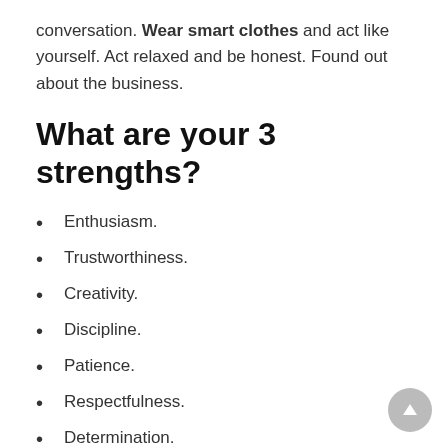conversation. Wear smart clothes and act like yourself. Act relaxed and be honest. Found out about the business.
What are your 3 strengths?
Enthusiasm.
Trustworthiness.
Creativity.
Discipline.
Patience.
Respectfulness.
Determination.
Dedication.